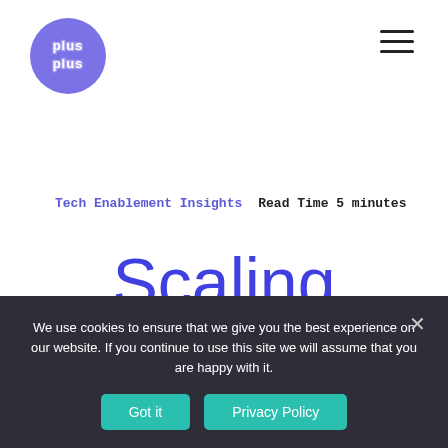[Figure (logo): Plus Plus circular logo — blue/purple circle with 'plus plus' text in white with double-line style lettering]
[Figure (other): Hamburger menu icon — three horizontal black lines]
Tech Enablement Insights   Read Time 5 minutes
Scaling
We use cookies to ensure that we give you the best experience on our website. If you continue to use this site we will assume that you are happy with it.
Got it   Privacy Policy